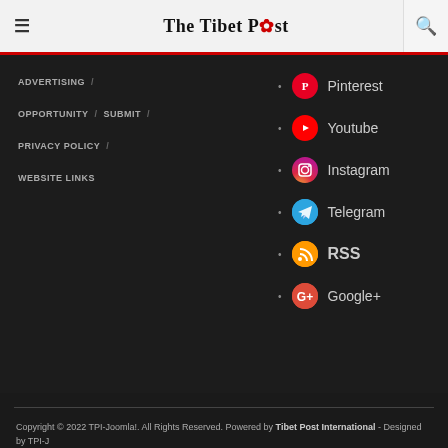The Tibet Post
ADVERTISING /
OPPORTUNITY / SUBMIT /
PRIVACY POLICY /
WEBSITE LINKS
Pinterest
Youtube
Instagram
Telegram
RSS
Google+
Copyright © 2022 TPI-Joomla!. All Rights Reserved. Powered by Tibet Post International - Designed by TPI-J Bootstrap- Inc.-v2.0. Font-Awesome-1.1.